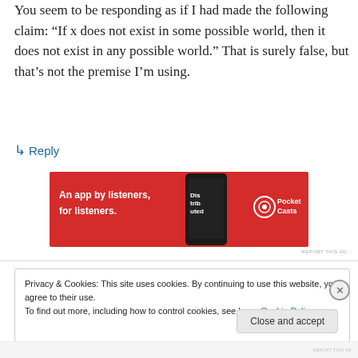You seem to be responding as if I had made the following claim: “If x does not exist in some possible world, then it does not exist in any possible world.” That is surely false, but that’s not the premise I’m using.
↳ Reply
[Figure (screenshot): Pocket Casts advertisement banner: red background with text 'An app by listeners, for listeners.' and Pocket Casts logo, with a phone image showing 'Distributed' podcast.]
REPORT THIS AD
Privacy & Cookies: This site uses cookies. By continuing to use this website, you agree to their use.
To find out more, including how to control cookies, see here: Cookie Policy
Close and accept